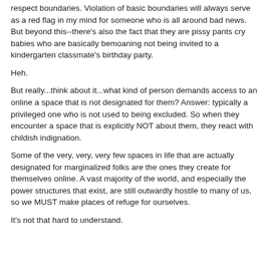respect boundaries. Violation of basic boundaries will always serve as a red flag in my mind for someone who is all around bad news. But beyond this--there's also the fact that they are pissy pants cry babies who are basically bemoaning not being invited to a kindergarten classmate's birthday party.
Heh.
But really...think about it...what kind of person demands access to an online a space that is not designated for them? Answer: typically a privileged one who is not used to being excluded. So when they encounter a space that is explicitly NOT about them, they react with childish indignation.
Some of the very, very, very few spaces in life that are actually designated for marginalized folks are the ones they create for themselves online. A vast majority of the world, and especially the power structures that exist, are still outwardly hostile to many of us, so we MUST make places of refuge for ourselves.
It's not that hard to understand.